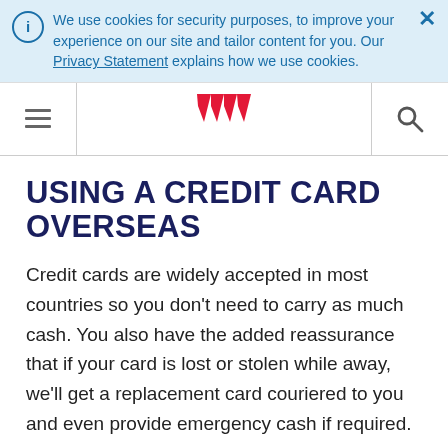We use cookies for security purposes, to improve your experience on our site and tailor content for you. Our Privacy Statement explains how we use cookies.
[Figure (logo): Westpac W logo in red]
USING A CREDIT CARD OVERSEAS
Credit cards are widely accepted in most countries so you don't need to carry as much cash. You also have the added reassurance that if your card is lost or stolen while away, we'll get a replacement card couriered to you and even provide emergency cash if required.